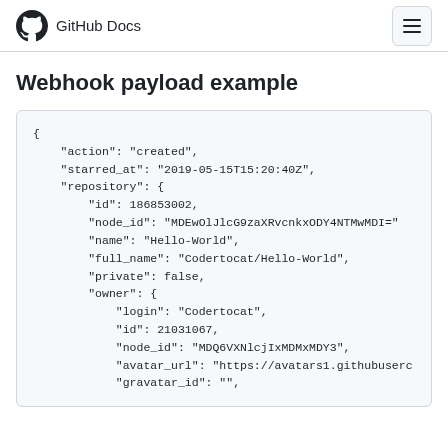GitHub Docs
Webhook payload example
{
    "action": "created",
    "starred_at": "2019-05-15T15:20:40Z",
    "repository": {
        "id": 186853002,
        "node_id": "MDEwOlJlcG9zaXRvcnkxODY4NTMwMDI=",
        "name": "Hello-World",
        "full_name": "Codertocat/Hello-World",
        "private": false,
        "owner": {
            "login": "Codertocat",
            "id": 21031067,
            "node_id": "MDQ6VXNlcjIxMDMxMDY3",
            "avatar_url": "https://avatars1.githubusercontent...",
            "gravatar_id": "",